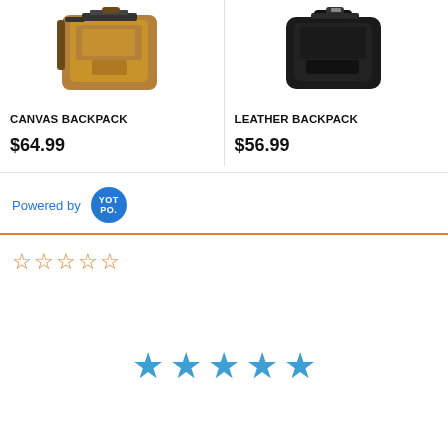[Figure (photo): Canvas backpack product image - tan/khaki colored bag]
CANVAS BACKPACK
$64.99
[Figure (photo): Leather backpack product image - black colored bag]
LEATHER BACKPACK
$56.99
Powered by YOT PO.
[Figure (illustration): Five empty star rating icons in orange outline]
[Figure (illustration): Five filled blue star rating icons]